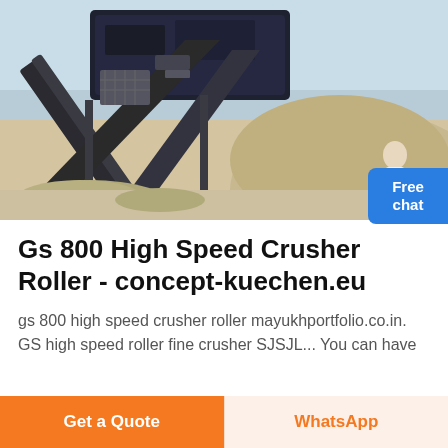[Figure (photo): Outdoor industrial stone crushing plant with conveyor belts, machinery, and a large pile of aggregate/gravel. A female figure in white is visible at the right edge of the image. Blue sky in background.]
Gs 800 High Speed Crusher Roller - concept-kuechen.eu
gs 800 high speed crusher roller mayukhportfolio.co.in. GS high speed roller fine crusher SJSJL... You can have
Free chat
Get a Quote
WhatsApp